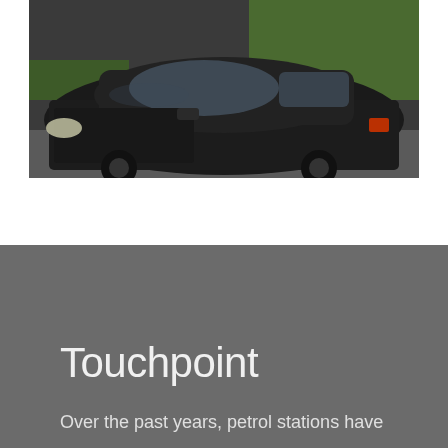[Figure (photo): A dark-colored car photographed from the side/front angle, parked or on a road. Green trees and road visible in background.]
Touchpoint
Over the past years, petrol stations have